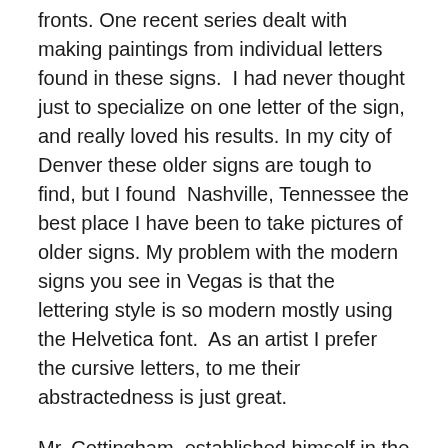fronts. One recent series dealt with making paintings from individual letters found in these signs.  I had never thought just to specialize on one letter of the sign, and really loved his results. In my city of Denver these older signs are tough to find, but I found  Nashville, Tennessee the best place I have been to take pictures of older signs. My problem with the modern signs you see in Vegas is that the lettering style is so modern mostly using the Helvetica font.  As an artist I prefer the cursive letters, to me their abstractedness is just great.
Mr. Cottingham  established himself in the 70s alongside artist like Chuck Close and Richard Estes. He was born in 1935 and studied graphic design in college which led him to painting urban american street signs. He is one of the best printmakers to study from and develop your own style.  I know Mr. Cottingham sometimes draws with